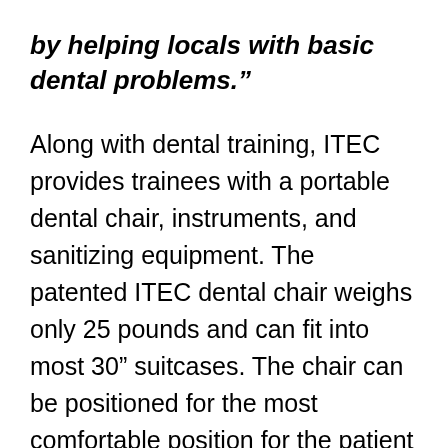by helping locals with basic dental problems.”
Along with dental training, ITEC provides trainees with a portable dental chair, instruments, and sanitizing equipment. The patented ITEC dental chair weighs only 25 pounds and can fit into most 30” suitcases. The chair can be positioned for the most comfortable position for the patient and the dentist.
It takes about three weeks to ensure that the newly-trained “dental technicians” are